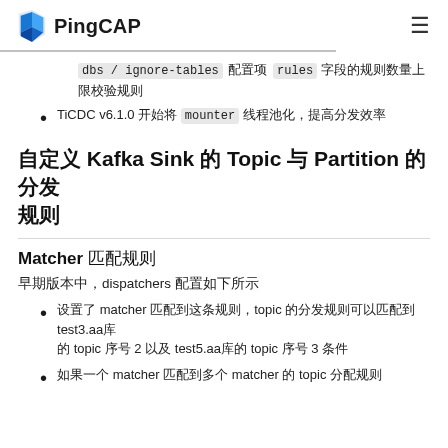PingCAP
dbs / ignore-tables 配置项 rules 字段的规则数量上限校验规则
TiCDC v6.1.0 开始将 mounter 线程池化，提高分发效率
自定义 Kafka Sink 的 Topic 和 Partition 的分发规则
Matcher 匹配规则
早期版本中，dispatchers 配置如下所示
只要 matcher 匹配到这条规则，topic 便可以匹配目标到 test3.aa库 的 topic 序号 2 以及 test5.aa库的 topic 序号 3 条件
如果一个 matcher 匹配到多个 matcher 的 topic 分配规则